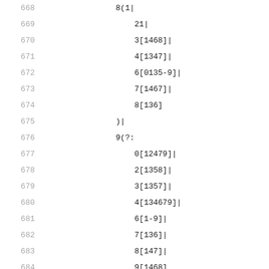668: 8(1|
669: 21|
670: 3[1468]|
671: 4[1347]|
672: 6[0135-9]|
673: 7[1467]|
674: 8[136]
675: )|
676: 9(?:
677: 0[12479]|
678: 2[1358]|
679: 3[1357]|
680: 4[134679]|
681: 6[1-9]|
682: 7[136]|
683: 8[147]|
684: 9[1468]
685: )
686: )
687: </leadingDigits>
688: <format>$1/$2 $3 $4</format>
689: </numberFormat>